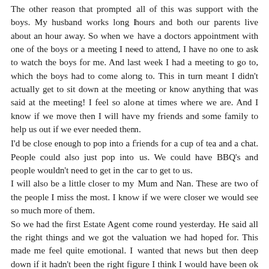The other reason that prompted all of this was support with the boys. My husband works long hours and both our parents live about an hour away. So when we have a doctors appointment with one of the boys or a meeting I need to attend, I have no one to ask to watch the boys for me. And last week I had a meeting to go to, which the boys had to come along to. This in turn meant I didn't actually get to sit down at the meeting or know anything that was said at the meeting! I feel so alone at times where we are. And I know if we move then I will have my friends and some family to help us out if we ever needed them.
I'd be close enough to pop into a friends for a cup of tea and a chat. People could also just pop into us. We could have BBQ's and people wouldn't need to get in the car to get to us.
I will also be a little closer to my Mum and Nan. These are two of the people I miss the most. I know if we were closer we would see so much more of them.
So we had the first Estate Agent come round yesterday. He said all the right things and we got the valuation we had hoped for. This made me feel quite emotional. I wanted that news but then deep down if it hadn't been the right figure I think I would have been ok with it. Now we have to wait for the second estate agent tomorrow and then we will make a